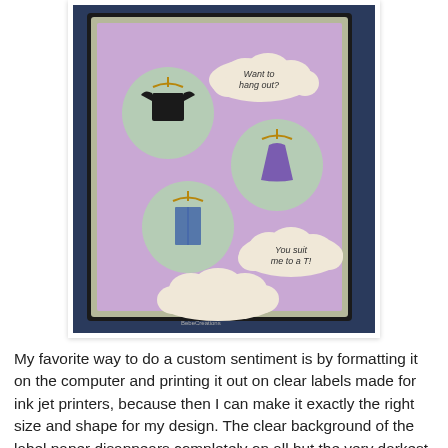[Figure (photo): A handmade greeting card with lavender/purple background, featuring three circular cutouts with clothes on hangers (a dark t-shirt, a purple dress, and blue jeans), and cloud-shaped sentiment bubbles reading 'Want to hang out?' and 'You suit me to a T!'. The card is layered on dark blue cardstock and photographed on a textured navy background.]
My favorite way to do a custom sentiment is by formatting it on the computer and printing it out on clear labels made for ink jet printers, because then I can make it exactly the right size and shape for my design. The clear background of the label paper disappears completely on all but the very darkest plain papers, but if I'm not sure, I test it out by sticking a tiny piece of the sticker paper's border to the edge of my paper or cardstock. When I'm going to cut the sentiment into an